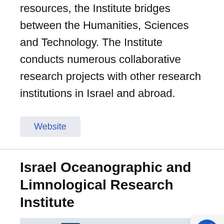resources, the Institute bridges between the Humanities, Sciences and Technology. The Institute conducts numerous collaborative research projects with other research institutions in Israel and abroad.
Website
Israel Oceanographic and Limnological Research Institute
[Figure (logo): Logo/banner of the Israel Oceanographic and Limnological Research Institute showing dark blue bar chart-like shapes on a light gray background]